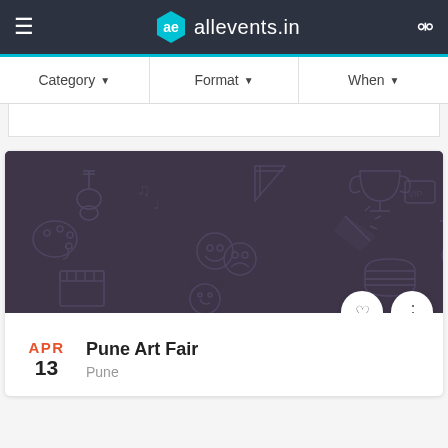≡  ae allevents.in  🔍
Category ▾   Format ▾   When ▾
[Figure (illustration): Dark purple banner with outline icons for events: guitar, music notes, theater masks, celebration, flask, dumbbell, football, VIP pass, camera reel, hamburger, astronaut, paint palette, target, clapperboard, and other event-related icons on dark background (#3e3549)]
APR
13
Pune Art Fair
Pune